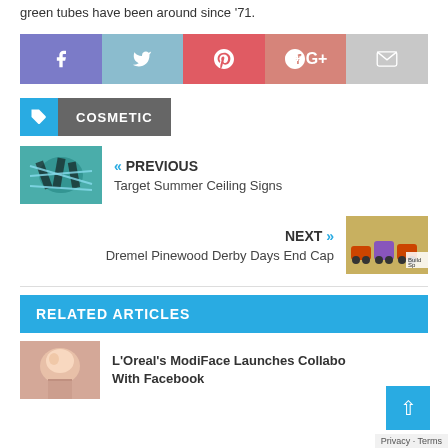green tubes have been around since '71.
[Figure (infographic): Social share bar with Facebook, Twitter, Pinterest, Google+, and Email buttons]
COSMETIC (tag label)
[Figure (photo): Previous article thumbnail: teal/turquoise bags with straps]
« PREVIOUS
Target Summer Ceiling Signs
[Figure (photo): Next article thumbnail: colorful toy cars on yellow background]
NEXT »
Dremel Pinewood Derby Days End Cap
RELATED ARTICLES
[Figure (photo): Related article thumbnail: woman's face]
L'Oreal's ModiFace Launches Collaboration With Facebook